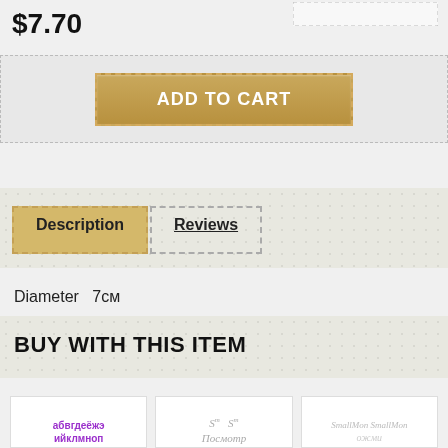$7.70
[Figure (screenshot): Add to Cart button with golden/tan color and dashed border on a light gray textured background]
[Figure (screenshot): Tab bar with Description (active, gold background) and Reviews (inactive, dashed border) tabs on dotted background]
Diameter  7см
BUY WITH THIS ITEM
[Figure (screenshot): Three product card thumbnails showing Cyrillic alphabet text in purple, cursive script samples, and small cursive text]
[Figure (screenshot): Dropdown selection box in top right corner]